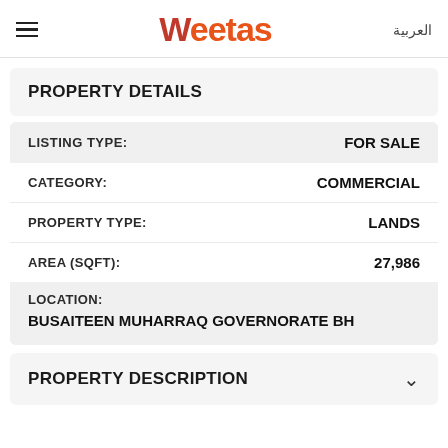Weetas | العربية
PROPERTY DETAILS
| Field | Value |
| --- | --- |
| LISTING TYPE: | FOR SALE |
| CATEGORY: | COMMERCIAL |
| PROPERTY TYPE: | LANDS |
| AREA (SQFT): | 27,986 |
| LOCATION: | BUSAITEEN MUHARRAQ GOVERNORATE BH |
PROPERTY DESCRIPTION